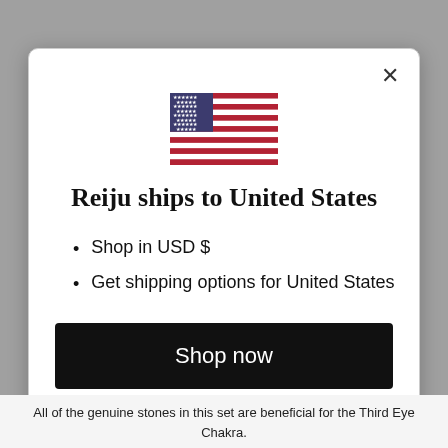[Figure (illustration): US flag SVG illustration centered in the modal]
Reiju ships to United States
Shop in USD $
Get shipping options for United States
Shop now
Change shipping country
All of the genuine stones in this set are beneficial for the Third Eye Chakra.